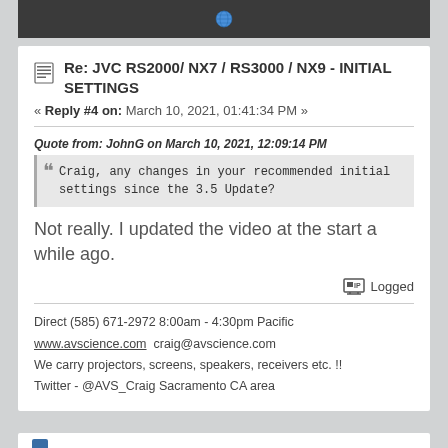Re: JVC RS2000/ NX7 / RS3000 / NX9 - INITIAL SETTINGS
« Reply #4 on: March 10, 2021, 01:41:34 PM »
Quote from: JohnG on March 10, 2021, 12:09:14 PM
Craig, any changes in your recommended initial settings since the 3.5 Update?
Not really. I updated the video at the start a while ago.
Logged
Direct (585) 671-2972 8:00am - 4:30pm Pacific
www.avscience.com  craig@avscience.com
We carry projectors, screens, speakers, receivers etc. !!
Twitter - @AVS_Craig Sacramento CA area